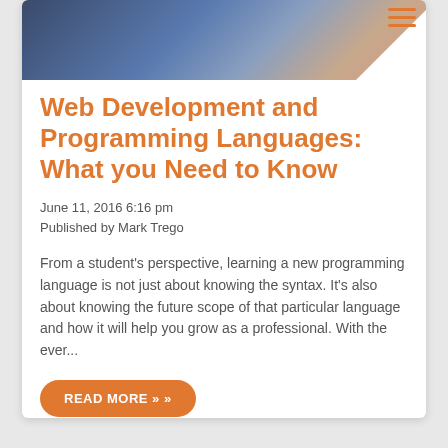[Figure (photo): Hero image of a laptop keyboard with hands, shown at the top of the article card.]
Web Development and Programming Languages: What you Need to Know
June 11, 2016 6:16 pm
Published by Mark Trego
From a student's perspective, learning a new programming language is not just about knowing the syntax. It's also about knowing the future scope of that particular language and how it will help you grow as a professional. With the ever...
READ MORE »